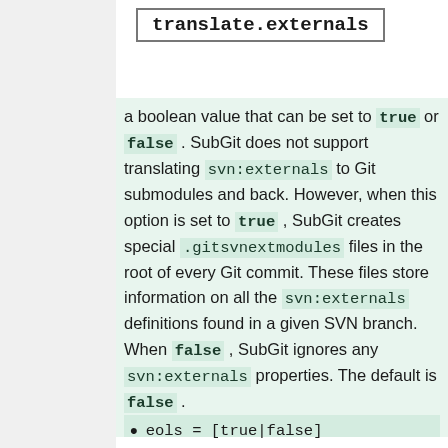translate.externals
a boolean value that can be set to true or false . SubGit does not support translating svn:externals to Git submodules and back. However, when this option is set to true , SubGit creates special .gitsvnextmodules files in the root of every Git commit. These files store information on all the svn:externals definitions found in a given SVN branch. When false , SubGit ignores any svn:externals properties. The default is false .
eols = [true|false]